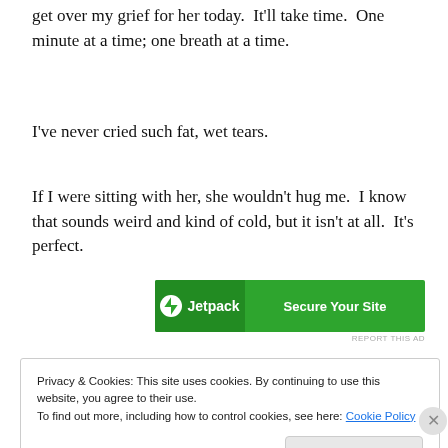get over my grief for her today.  It'll take time.  One minute at a time; one breath at a time.
I've never cried such fat, wet tears.
If I were sitting with her, she wouldn't hug me.  I know that sounds weird and kind of cold, but it isn't at all.  It's perfect.
[Figure (other): Jetpack advertisement banner — green background with Jetpack logo on left and 'Secure Your Site' text on right]
REPORT THIS AD
Privacy & Cookies: This site uses cookies. By continuing to use this website, you agree to their use.
To find out more, including how to control cookies, see here: Cookie Policy
Close and accept